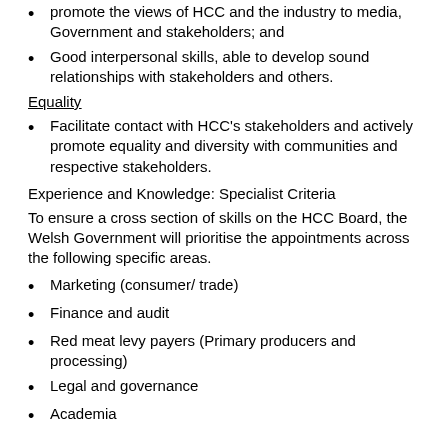promote the views of HCC and the industry to media, Government and stakeholders; and
Good interpersonal skills, able to develop sound relationships with stakeholders and others.
Equality
Facilitate contact with HCC's stakeholders and actively promote equality and diversity with communities and respective stakeholders.
Experience and Knowledge: Specialist Criteria
To ensure a cross section of skills on the HCC Board, the Welsh Government will prioritise the appointments across the following specific areas.
Marketing (consumer/ trade)
Finance and audit
Red meat levy payers (Primary producers and processing)
Legal and governance
Academia